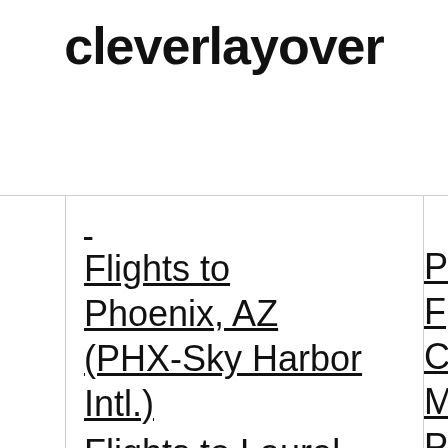cleverlayover
Flights to Phoenix, AZ (PHX-Sky Harbor Intl.)
Flights to Laurel, MS (PIR...